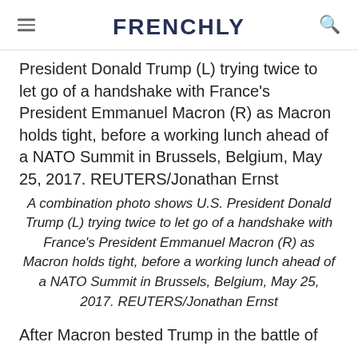FRENCHLY
President Donald Trump (L) trying twice to let go of a handshake with France's President Emmanuel Macron (R) as Macron holds tight, before a working lunch ahead of a NATO Summit in Brussels, Belgium, May 25, 2017. REUTERS/Jonathan Ernst
A combination photo shows U.S. President Donald Trump (L) trying twice to let go of a handshake with France's President Emmanuel Macron (R) as Macron holds tight, before a working lunch ahead of a NATO Summit in Brussels, Belgium, May 25, 2017. REUTERS/Jonathan Ernst
After Macron bested Trump in the battle of